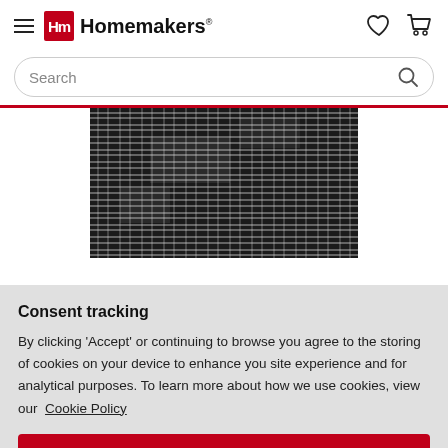Hm Homemakers
Search
[Figure (photo): Close-up photo of a black and white woven fabric texture with cross-hatch pattern]
Consent tracking
By clicking 'Accept' or continuing to browse you agree to the storing of cookies on your device to enhance you site experience and for analytical purposes. To learn more about how we use cookies, view our Cookie Policy
ACCEPT